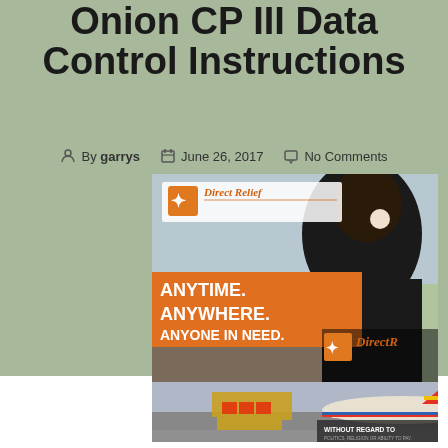Onion CP III Data Control Instructions
By garrys   June 26, 2017   No Comments
[Figure (photo): Direct Relief charity advertisement image. Top image shows a woman with dark hair in a bun viewed from behind in a disaster zone, with text 'ANYTIME. ANYWHERE. ANYONE IN NEED.' on an orange banner and the Direct Relief logo. Bottom image shows cargo being loaded onto an airplane with text 'WITHOUT REGARD TO POLITICS, RELIGION OR ABILITY TO PAY.']